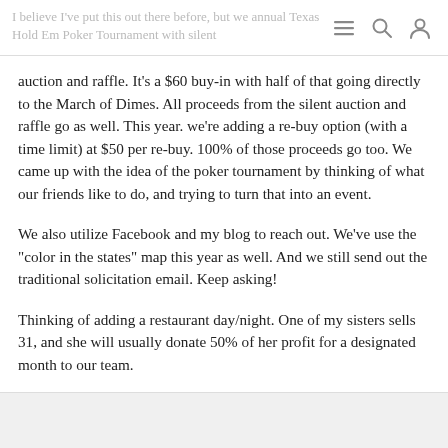I believe I've put this out there before, but we annual Texas Hold Em Poker Tournament with silent
auction and raffle. It's a $60 buy-in with half of that going directly to the March of Dimes. All proceeds from the silent auction and raffle go as well. This year. we're adding a re-buy option (with a time limit) at $50 per re-buy. 100% of those proceeds go too. We came up with the idea of the poker tournament by thinking of what our friends like to do, and trying to turn that into an event.
We also utilize Facebook and my blog to reach out. We've use the "color in the states" map this year as well. And we still send out the traditional solicitation email. Keep asking!
Thinking of adding a restaurant day/night. One of my sisters sells 31, and she will usually donate 50% of her profit for a designated month to our team.